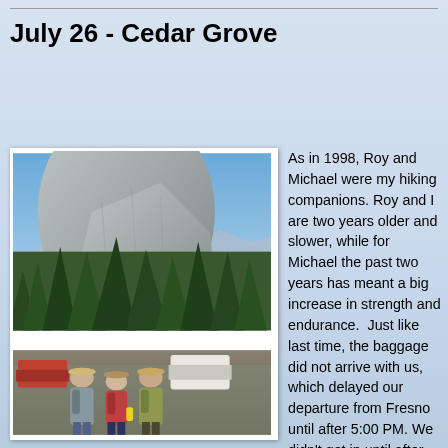July 26 - Cedar Grove
[Figure (photo): Outdoor photo showing three hikers with backpacks in a parking area, tall pine trees, and a large granite cliff/dome behind them under a blue sky.]
As in 1998, Roy and Michael were my hiking companions. Roy and I are two years older and slower, while for Michael the past two years has meant a big increase in strength and endurance.  Just like last time, the baggage did not arrive with us, which delayed our departure from Fresno until after 5:00 PM. We didn't get in until after dark, which is just as well because we were forced to stay in one of the mega-